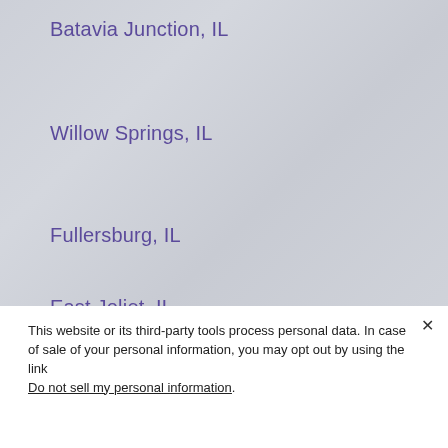Batavia Junction, IL
Willow Springs, IL
Fullersburg, IL
East Joliet, IL
This website or its third-party tools process personal data. In case of sale of your personal information, you may opt out by using the link Do not sell my personal information.